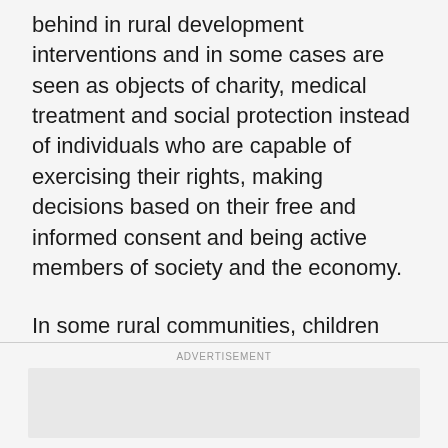behind in rural development interventions and in some cases are seen as objects of charity, medical treatment and social protection instead of individuals who are capable of exercising their rights, making decisions based on their free and informed consent and being active members of society and the economy.
In some rural communities, children with disabilities are hidden from the public eye by family members who are ashamed of them or believe they are a form of curse.
ADVERTISEMENT